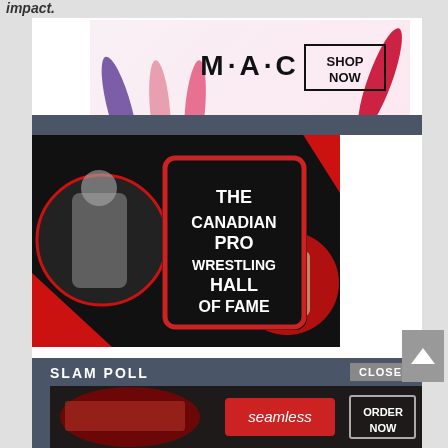impact.
[Figure (photo): MAC cosmetics advertisement banner showing lipsticks with 'SHOP NOW' button]
[Figure (photo): The Canadian Pro Wrestling Hall of Fame promotional image with wrestlers and bold red/black design]
SLAM POLL
CLOSE
[Figure (photo): Seamless food delivery advertisement showing pizza with 'ORDER NOW' button]